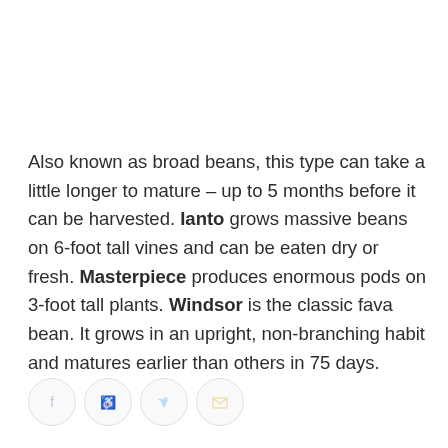Also known as broad beans, this type can take a little longer to mature – up to 5 months before it can be harvested. Ianto grows massive beans on 6-foot tall vines and can be eaten dry or fresh. Masterpiece produces enormous pods on 3-foot tall plants. Windsor is the classic fava bean. It grows in an upright, non-branching habit and matures earlier than others in 75 days.
[Figure (other): Social sharing icons: Facebook, Pinterest, Twitter, Email]